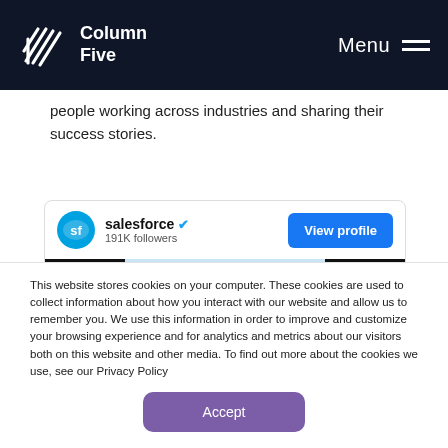Column Five | Menu
people working across industries and sharing their success stories.
[Figure (screenshot): Salesforce LinkedIn company profile card showing logo, name with verified badge, 191K followers, and a View profile button, with a partially visible banner image below]
This website stores cookies on your computer. These cookies are used to collect information about how you interact with our website and allow us to remember you. We use this information in order to improve and customize your browsing experience and for analytics and metrics about our visitors both on this website and other media. To find out more about the cookies we use, see our Privacy Policy